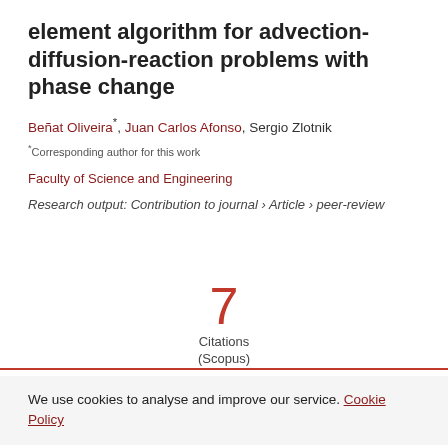element algorithm for advection-diffusion-reaction problems with phase change
Beñat Oliveira*, Juan Carlos Afonso, Sergio Zlotnik
*Corresponding author for this work
Faculty of Science and Engineering
Research output: Contribution to journal › Article › peer-review
7 Citations (Scopus)
We use cookies to analyse and improve our service. Cookie Policy